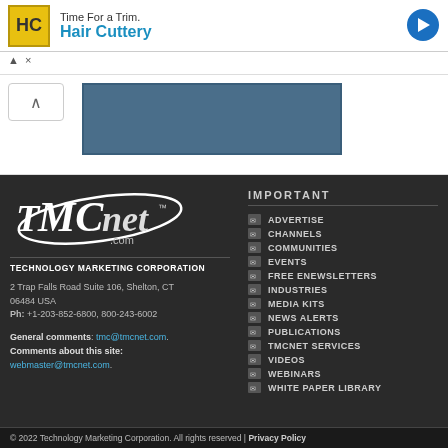[Figure (screenshot): Hair Cuttery advertisement banner with yellow HC logo, blue arrow navigation icon, and 'Time For a Trim.' text]
▲
×
[Figure (screenshot): Partial UI with toggle arrow button and blue content box]
[Figure (logo): TMCnet.com logo in stylized italic white text with oval swoosh]
TECHNOLOGY MARKETING CORPORATION
2 Trap Falls Road Suite 106, Shelton, CT 06484 USA
Ph: +1-203-852-6800, 800-243-6002
General comments: tmc@tmcnet.com.
Comments about this site:
webmaster@tmcnet.com.
IMPORTANT
ADVERTISE
CHANNELS
COMMUNITIES
EVENTS
FREE ENEWSLETTERS
INDUSTRIES
MEDIA KITS
NEWS ALERTS
PUBLICATIONS
TMCNET SERVICES
VIDEOS
WEBINARS
WHITE PAPER LIBRARY
© 2022 Technology Marketing Corporation. All rights reserved | Privacy Policy